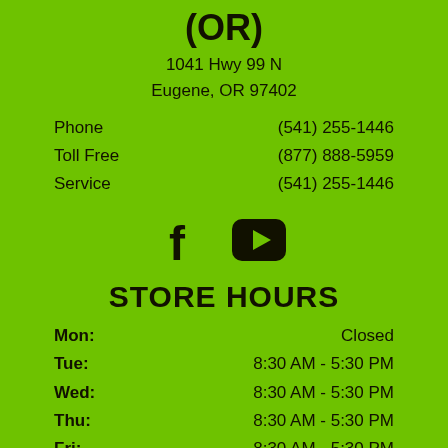(OR)
1041 Hwy 99 N
Eugene, OR 97402
Phone  (541) 255-1446
Toll Free  (877) 888-5959
Service  (541) 255-1446
[Figure (illustration): Facebook and YouTube social media icons]
STORE HOURS
| Day | Hours |
| --- | --- |
| Mon: | Closed |
| Tue: | 8:30 AM - 5:30 PM |
| Wed: | 8:30 AM - 5:30 PM |
| Thu: | 8:30 AM - 5:30 PM |
| Fri: | 8:30 AM - 5:30 PM |
| Sat: | 9:00 AM - 3:00 PM |
| Sun: | Closed |